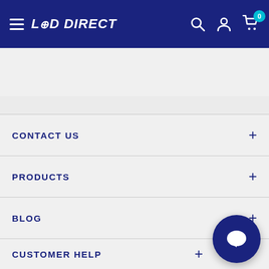[Figure (screenshot): LED Direct website header with hamburger menu, logo, search, account, and cart icons on dark blue background]
[Figure (other): Carousel slider dot indicators: 4 dots with first dot active (dark blue), others grey]
CONTACT US
PRODUCTS
BLOG
CUSTOMER HELP
[Figure (other): Dark blue circular chat bubble icon in bottom right corner]